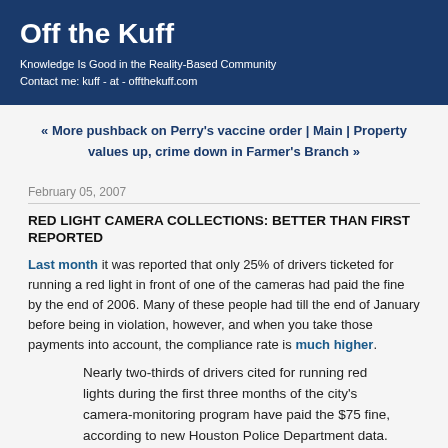Off the Kuff
Knowledge Is Good in the Reality-Based Community
Contact me: kuff - at - offthekuff.com
« More pushback on Perry's vaccine order | Main | Property values up, crime down in Farmer's Branch »
February 05, 2007
RED LIGHT CAMERA COLLECTIONS: BETTER THAN FIRST REPORTED
Last month it was reported that only 25% of drivers ticketed for running a red light in front of one of the cameras had paid the fine by the end of 2006. Many of these people had till the end of January before being in violation, however, and when you take those payments into account, the compliance rate is much higher.
Nearly two-thirds of drivers cited for running red lights during the first three months of the city's camera-monitoring program have paid the $75 fine, according to new Houston Police Department data.
The figure is higher -- and police say more precise --